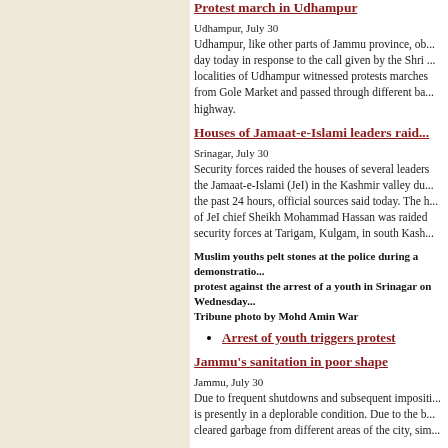Protest march in Udhampur
Udhampur, July 30
Udhampur, like other parts of Jammu province, observed a shutdown day today in response to the call given by the Shri ... localities of Udhampur witnessed protests marches from Gole Market and passed through different ba... highway.
Houses of Jamaat-e-Islami leaders raid...
Srinagar, July 30
Security forces raided the houses of several leaders of the Jamaat-e-Islami (JeI) in the Kashmir valley du... the past 24 hours, official sources said today. The h... of JeI chief Sheikh Mohammad Hassan was raided security forces at Tarigam, Kulgam, in south Kash...
Muslim youths pelt stones at the police during a demonstration... protest against the arrest of a youth in Srinagar on Wednesday... Tribune photo by Mohd Amin War
Arrest of youth triggers protest
Jammu's sanitation in poor shape
Jammu, July 30
Due to frequent shutdowns and subsequent impositi... is presently in a deplorable condition. Due to the b... cleared garbage from different areas of the city, sim...
Shun corruption: Vohra to bureaucrats...
Srinagar, July 30